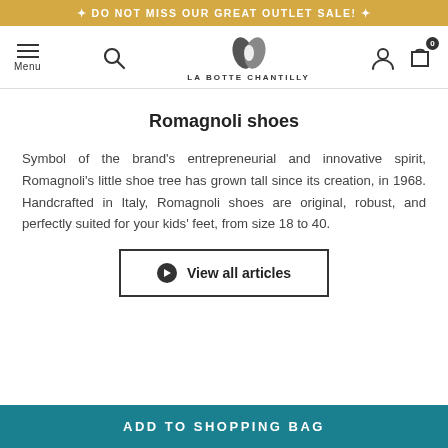❋ DO NOT MISS OUR GREAT OUTLET SALE! ❋
[Figure (screenshot): Navigation bar with hamburger menu (Menu), search icon, La Botte Chantilly logo (leaf/shoe icon with text), user account icon, and shopping bag icon with 0 badge]
Romagnoli shoes
Symbol of the brand's entrepreneurial and innovative spirit, Romagnoli's little shoe tree has grown tall since its creation, in 1968. Handcrafted in Italy, Romagnoli shoes are original, robust, and perfectly suited for your kids' feet, from size 18 to 40.
⬤ View all articles
ADD TO SHOPPING BAG